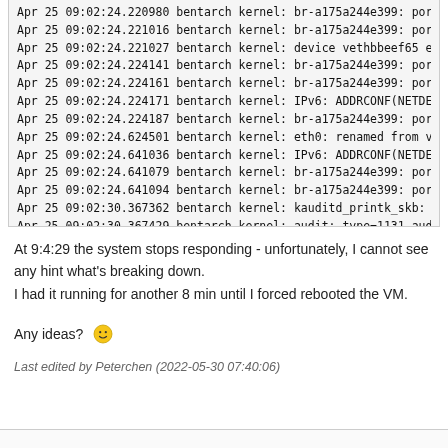[Figure (screenshot): Terminal/log output showing kernel messages from Apr 25 with timestamps around 09:02:24 and 09:02:30, including bridge and IPv6 network events, kauditd and audit messages, partially cut off at bottom.]
At 9:4:29 the system stops responding - unfortunately, I cannot see any hint what's breaking down.
I had it running for another 8 min until I forced rebooted the VM.
Any ideas? 🙂
Last edited by Peterchen (2022-05-30 07:40:06)